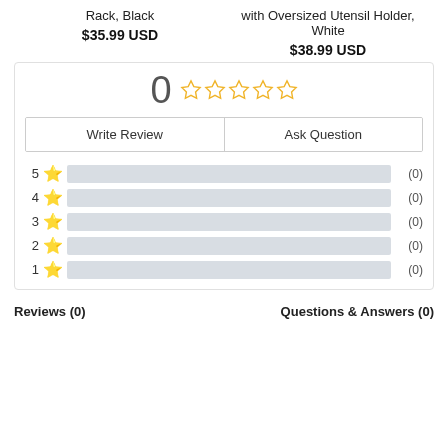Rack, Black
with Oversized Utensil Holder, White
$35.99 USD
$38.99 USD
[Figure (other): Rating summary showing 0 with 5 empty stars, Write Review and Ask Question buttons, and rating bars for 5 through 1 stars all showing (0)]
Reviews (0)
Questions & Answers (0)